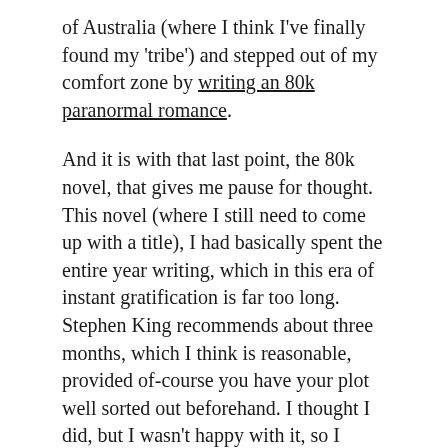of Australia (where I think I've finally found my 'tribe') and stepped out of my comfort zone by writing an 80k paranormal romance.
And it is with that last point, the 80k novel, that gives me pause for thought. This novel (where I still need to come up with a title), I had basically spent the entire year writing, which in this era of instant gratification is far too long. Stephen King recommends about three months, which I think is reasonable, provided of-course you have your plot well sorted out beforehand. I thought I did, but I wasn't happy with it, so I started all over again. I learned the hard way that this story idea needed more time to simmer.
So basically in 2018, I should have written faster. The only way I believe I can really achieve that is to work harder on those distractions, stop with my perfectionism as well as stop thinking so much and just do it! Our time is short enough as it